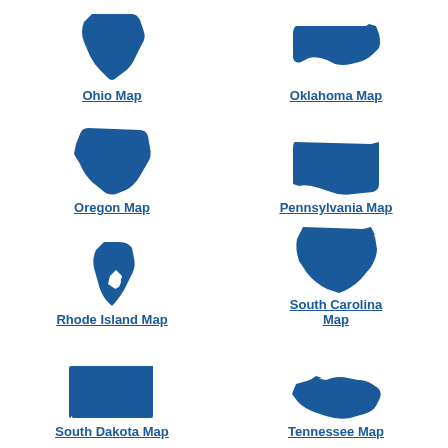[Figure (map): Silhouette map of Ohio state in blue]
Ohio Map
[Figure (map): Silhouette map of Oklahoma state in blue]
Oklahoma Map
[Figure (map): Silhouette map of Oregon state in blue]
Oregon Map
[Figure (map): Silhouette map of Pennsylvania state in blue]
Pennsylvania Map
[Figure (map): Silhouette map of Rhode Island state in blue]
Rhode Island Map
[Figure (map): Silhouette map of South Carolina state in blue]
South Carolina Map
[Figure (map): Silhouette map of South Dakota state in blue]
South Dakota Map
[Figure (map): Silhouette map of Tennessee state in blue]
Tennessee Map